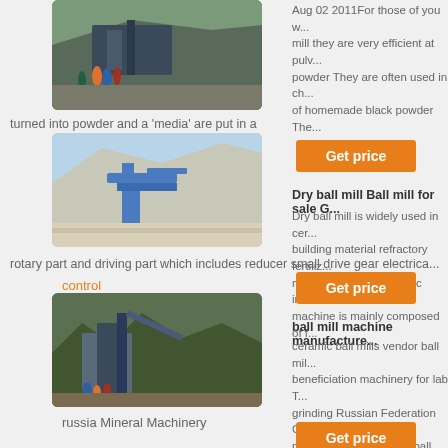[Figure (photo): Industrial mining/construction site with workers and machinery on a hillside]
Aug 02 2011For those of you w... mill they are very efficient at pulv... powder They are often used in ch... of homemade black powder The...
turned into powder and a 'media' are put in a
[Figure (photo): Open mining quarry with blue industrial conveyor/processing equipment]
Get price
Dry ball mill Ball mill for sale G...
Dry ball mill is widely used in cer... building material refractory fertiliz... metals and glass ceramic industr... machine is mainly composed of f...
rotary part and driving part which includes reducer small drive gear electrica...
control
Get price
ball mill machine manufacture...
ceramic ball mills vendor ball mil... beneficiation machinery for lab T... grinding Russian Federation Gm... machine cost in Russia ball mill r...
[Figure (photo): Industrial mining facility with large structures, conveyor belts and workers]
russia Mineral Machinery
Get price